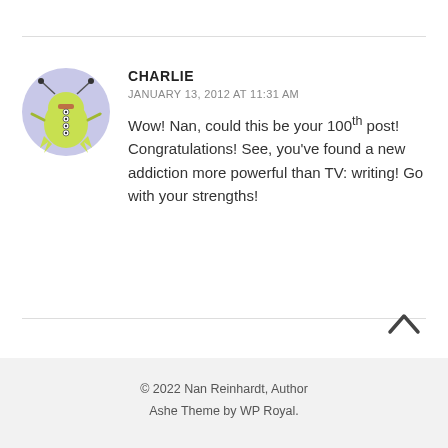[Figure (illustration): Circular avatar image with light purple/lavender background showing a cartoon green alien/monster character with antennae and colorful buttons on its body]
CHARLIE
JANUARY 13, 2012 AT 11:31 AM
Wow! Nan, could this be your 100th post! Congratulations! See, you’ve found a new addiction more powerful than TV: writing! Go with your strengths!
© 2022 Nan Reinhardt, Author
Ashe Theme by WP Royal.